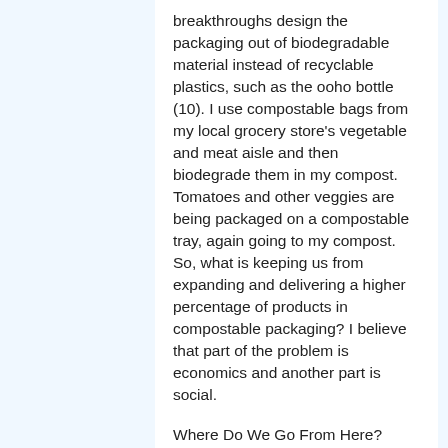breakthroughs design the packaging out of biodegradable material instead of recyclable plastics, such as the ooho bottle (10). I use compostable bags from my local grocery store's vegetable and meat aisle and then biodegrade them in my compost. Tomatoes and other veggies are being packaged on a compostable tray, again going to my compost. So, what is keeping us from expanding and delivering a higher percentage of products in compostable packaging? I believe that part of the problem is economics and another part is social.
Where Do We Go From Here?